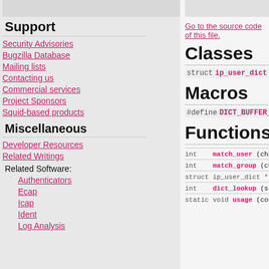Support
Security Advisories
Bugzilla Database
Mailing lists
Contacting us
Commercial services
Project Sponsors
Squid-based products
Miscellaneous
Developer Resources
Related Writings
Related Software:
Authenticators
Ecap
Icap
Ident
Log Analysis
Go to the source code of this file.
Classes
|  |  |
| --- | --- |
| struct | ip_user_dict |
Macros
| #define | DICT_BUFFER_SIZE | 8196 |
Functions
| int | match_user | (cha... |
| int | match_group | (ch... |
| struct ip_user_dict * | load_dict | (FILE *... |
| int | dict_lookup | (stru... |
| static void | usage | (const cha... |